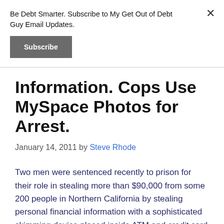Be Debt Smarter. Subscribe to My Get Out of Debt Guy Email Updates.
Subscribe
Information. Cops Use MySpace Photos for Arrest.
January 14, 2011 by Steve Rhode
Two men were sentenced recently to prison for their role in stealing more than $90,000 from some 200 people in Northern California by stealing personal financial information with a sophisticated skimming device placed inside ATM and credit card payment devices at gas station pumps. On January 22, 2011 in Contra Costa County Superior Court in